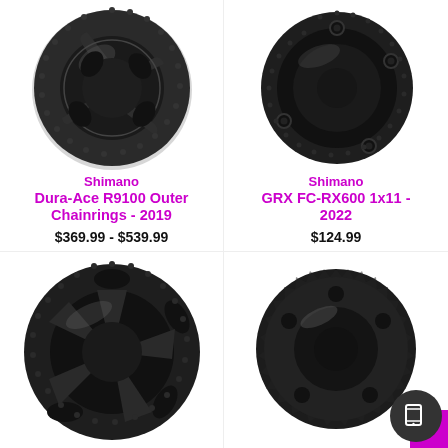[Figure (photo): Shimano Dura-Ace R9100 Outer Chainring - black, large chainring with 5-arm spider, top-left product]
Shimano
Dura-Ace R9100 Outer Chainrings - 2019
$369.99 - $539.99
[Figure (photo): Shimano GRX FC-RX600 1x11 chainring - black round chainring with 4-bolt pattern, top-right product]
Shimano
GRX FC-RX600 1x11 - 2022
$124.99
[Figure (photo): Chainring - black, large with cutouts, bottom-left product]
[Figure (photo): Small black chainring with irregular tooth pattern, bottom-right product, partially visible with dark circular badge and pink corner element]